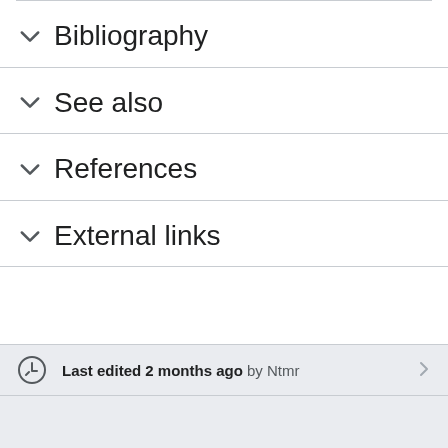Bibliography
See also
References
External links
Last edited 2 months ago by Ntmr